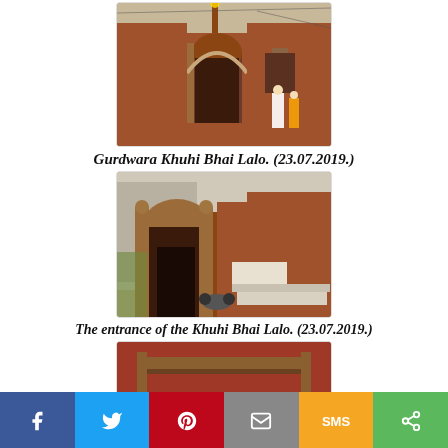[Figure (photo): Exterior view of Gurdwara Khuhi Bhai Lalo, showing brick walls and arched entrance with flags on roof and people standing nearby]
Gurdwara Khuhi Bhai Lalo. (23.07.2019.)
[Figure (photo): Entrance view of the Khuhi Bhai Lalo building showing ornate arched doorway with brick walls and stone trough in foreground]
The entrance of the Khuhi Bhai Lalo. (23.07.2019.)
[Figure (photo): Close-up of wooden door or entrance element of the Khuhi Bhai Lalo, partially visible at bottom of page]
Social share bar: Facebook, Twitter, Pinterest, Email, SMS, Share